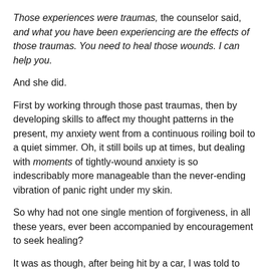Those experiences were traumas, the counselor said, and what you have been experiencing are the effects of those traumas. You need to heal those wounds. I can help you.
And she did.
First by working through those past traumas, then by developing skills to affect my thought patterns in the present, my anxiety went from a continuous roiling boil to a quiet simmer. Oh, it still boils up at times, but dealing with moments of tightly-wound anxiety is so indescribably more manageable than the never-ending vibration of panic right under my skin.
So why had not one single mention of forgiveness, in all these years, ever been accompanied by encouragement to seek healing?
It was as though, after being hit by a car, I was told to "let go" of my concussion. As though forgiving the driver of the car would make my broken arm a non-issue. As though the release of my anger was more important than seeking care...